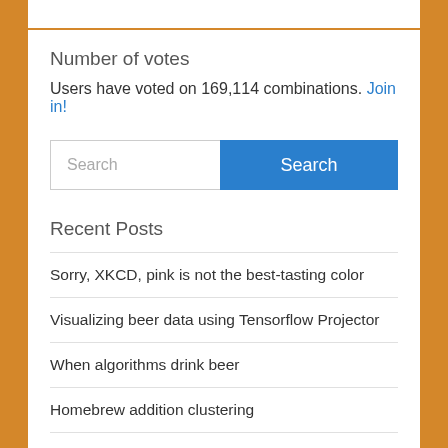Number of votes
Users have voted on 169,114 combinations. Join in!
[Figure (screenshot): Search input box with placeholder text 'Search' and a blue 'Search' button]
Recent Posts
Sorry, XKCD, pink is not the best-tasting color
Visualizing beer data using Tensorflow Projector
When algorithms drink beer
Homebrew addition clustering
Watermelon Gose